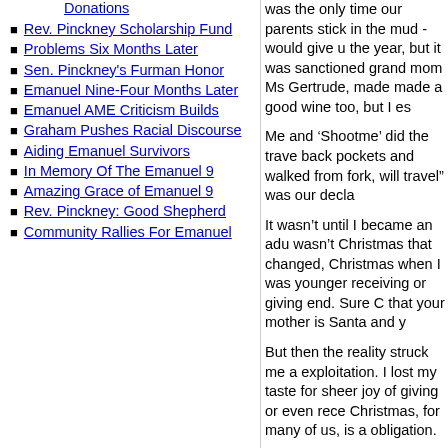Donations
Rev. Pinckney Scholarship Fund
Problems Six Months Later
Sen. Pinckney's Furman Honor
Emanuel Nine-Four Months Later
Emanuel AME Criticism Builds
Graham Pushes Racial Discourse
Aiding Emanuel Survivors
In Memory Of The Emanuel 9
Amazing Grace of Emanuel 9
Rev. Pinckney: Good Shepherd
Community Rallies For Emanuel
was the only time our parents stick in the mud - would give u the year, but it was sanctioned grand mom Ms Gertrude, made made a good wine too, but I es
Me and ‘Shootme’ did the trave back pockets and walked from fork, will travel” was our decla
It wasn’t until I became an adu wasn’t Christmas that changed, Christmas when I was younger receiving or giving end. Sure C that your mother is Santa and y
But then the reality struck me a exploitation. I lost my taste for sheer joy of giving or even rece Christmas, for many of us, is a obligation.
For years now, I’ve anguished occasion turned ugly by the stu song, “Who Took the Merry (M